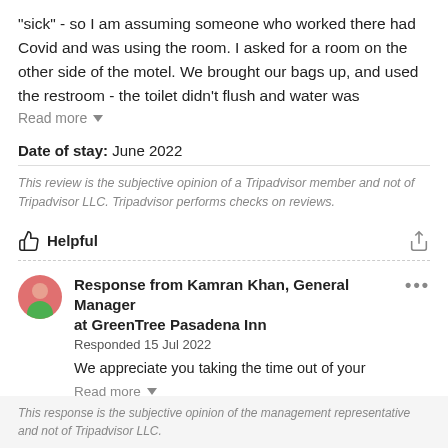"sick" - so I am assuming someone who worked there had Covid and was using the room. I asked for a room on the other side of the motel. We brought our bags up, and used the restroom - the toilet didn't flush and water was
Read more
Date of stay: June 2022
This review is the subjective opinion of a Tripadvisor member and not of Tripadvisor LLC. Tripadvisor performs checks on reviews.
Helpful
Response from Kamran Khan, General Manager at GreenTree Pasadena Inn
Responded 15 Jul 2022
We appreciate you taking the time out of your
Read more
This response is the subjective opinion of the management representative and not of Tripadvisor LLC.